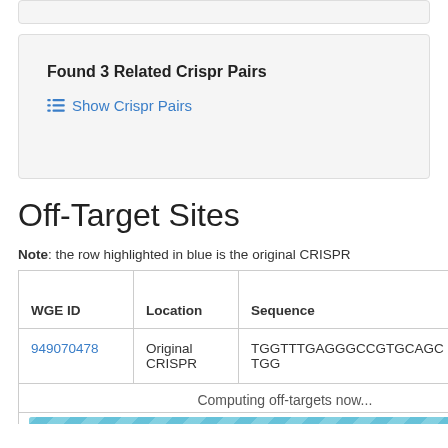Found 3 Related Crispr Pairs
Show Crispr Pairs
Off-Target Sites
Note: the row highlighted in blue is the original CRISPR
| WGE ID | Location | Sequence | Mismatch |
| --- | --- | --- | --- |
| 949070478 | Original CRISPR | TGGTTTGAGGGCCGTGCAGCTGG |  |
|  | Computing off-targets now... |  |  |